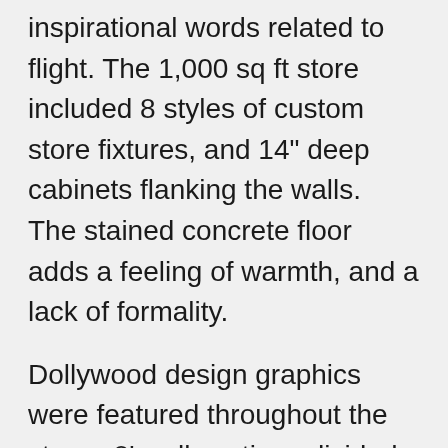inspirational words related to flight. The 1,000 sq ft store included 8 styles of custom store fixtures, and 14" deep cabinets flanking the walls.  The stained concrete floor adds a feeling of warmth, and a lack of formality.
Dollywood design graphics were featured throughout the store.  8' wall sections divided the various product stories.
50 pages of documents were